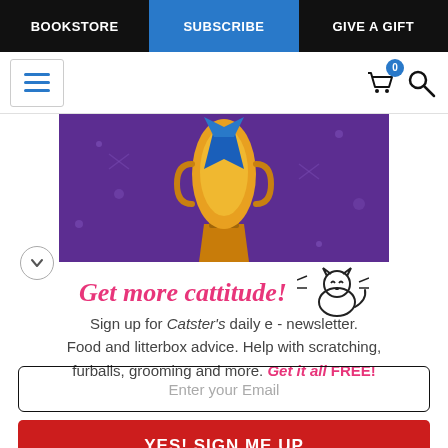BOOKSTORE | SUBSCRIBE | GIVE A GIFT
[Figure (screenshot): Website header with hamburger menu button on the left, cart icon with badge showing 0, and search icon on the right]
[Figure (illustration): Purple banner showing a gold trophy cup with a blue ribbon, sparkle decorations on purple background]
Get more cattitude!
Sign up for Catster's daily e - newsletter. Food and litterbox advice. Help with scratching, furballs, grooming and more. Get it all FREE!
Enter your Email
YES! SIGN ME UP